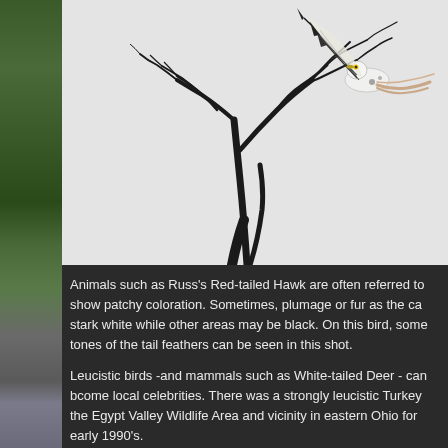[Figure (photo): A leucistic Red-tailed Hawk with white and black patchy plumage taking flight from or perching on a bare tree branch, photographed against a light gray sky background.]
Animals such as Russ's Red-tailed Hawk are often referred to show patchy coloration. Sometimes, plumage or fur as the ca stark white while other areas may be black. On this bird, some tones of the tail feathers can be seen in this shot.
Leucistic birds -and mammals such as White-tailed Deer - can bcome local celebrities. There was a strongly leucistic Turkey the Egypt Valley Wildlife Area and vicinity in eastern Ohio for early 1990's.
Here's hoping that Russ's bird lives long and prospers. Thank